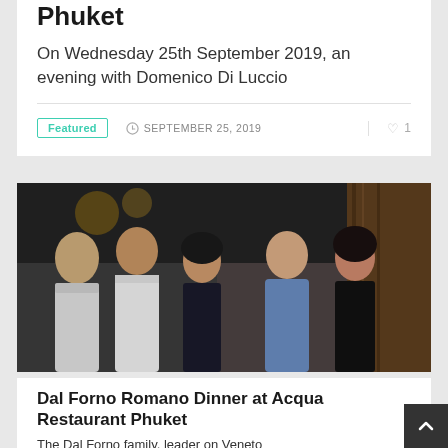Phuket
On Wednesday 25th September 2019, an evening with Domenico Di Luccio
Featured  SEPTEMBER 25, 2019  ♥ 1
[Figure (photo): Group photo of five people posing together at a restaurant event — two men in white/light shirts on the left, a woman in dark outfit in the middle, an older man in blue shirt, and a woman in black on the right.]
Dal Forno Romano Dinner at Acqua Restaurant Phuket
The Dal Forno family, leader on Veneto